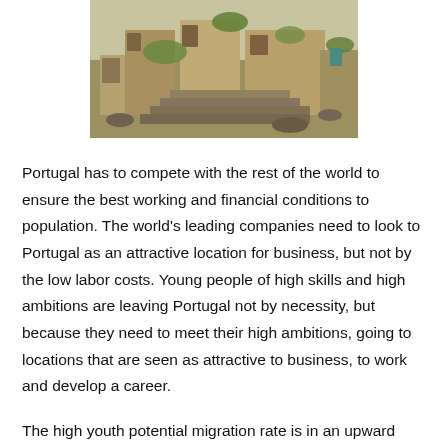[Figure (photo): Photograph of a rural stone village with old stone buildings, stone pathways, and green vegetation. The scene appears to depict a traditional or abandoned village setting.]
Portugal has to compete with the rest of the world to ensure the best working and financial conditions to population. The world's leading companies need to look to Portugal as an attractive location for business, but not by the low labor costs. Young people of high skills and high ambitions are leaving Portugal not by necessity, but because they need to meet their high ambitions, going to locations that are seen as attractive to business, to work and develop a career.
The high youth potential migration rate is in an upward trend in Portugal as it is increasingly reducing the